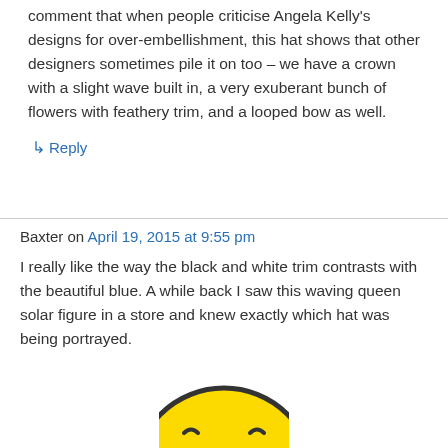comment that when people criticise Angela Kelly's designs for over-embellishment, this hat shows that other designers sometimes pile it on too – we have a crown with a slight wave built in, a very exuberant bunch of flowers with feathery trim, and a looped bow as well.
↳ Reply
Baxter on April 19, 2015 at 9:55 pm
I really like the way the black and white trim contrasts with the beautiful blue. A while back I saw this waving queen solar figure in a store and knew exactly which hat was being portrayed.
[Figure (illustration): Partially visible yellow smiley face emoji at the bottom of the page]